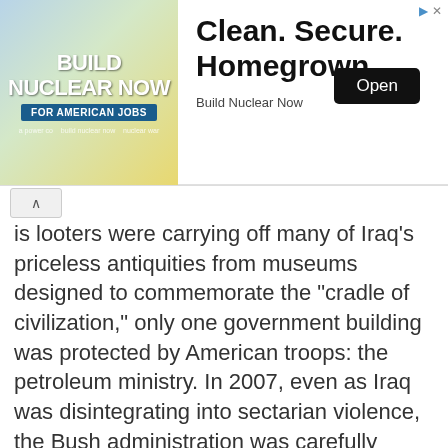[Figure (other): Advertisement banner for 'Build Nuclear Now' campaign showing 'Clean. Secure. Homegrown.' tagline with an Open button]
is looters were carrying off many of Iraq's priceless antiquities from museums designed to commemorate the "cradle of civilization," only one government building was protected by American troops: the petroleum ministry. In 2007, even as Iraq was disintegrating into sectarian violence, the Bush administration was carefully crafting legal documents - while the United States was still the occupying power - guaranteeing preferential access to the enormous profits expected from production of Iraq's vast oil reserves for ExxonMobil, Chevron, BP, and Shell. — Al Gore